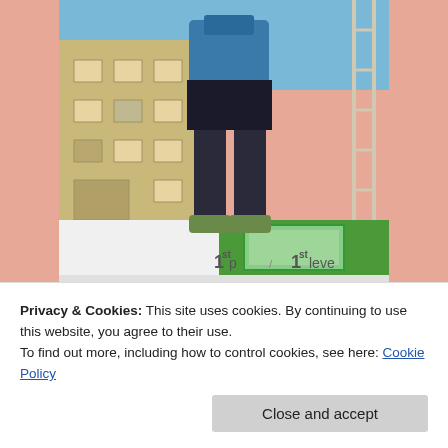[Figure (photo): A person with a large blue backpack standing on top of a bus or vehicle, wearing dark pants and green shoes. Buildings visible in the background, and the vehicle has green and white coloring with '1st' visible on the side.]
— A random dude puts our luggage on the roof of
Privacy & Cookies: This site uses cookies. By continuing to use this website, you agree to their use.
To find out more, including how to control cookies, see here: Cookie Policy
Close and accept